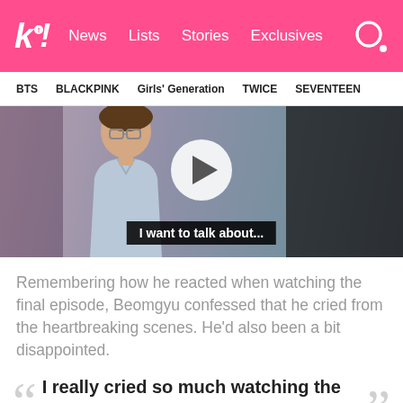k! News Lists Stories Exclusives
BTS BLACKPINK Girls' Generation TWICE SEVENTEEN
[Figure (screenshot): Video thumbnail of a person wearing a light blue shirt in a room, with a play button overlay and subtitle text 'I want to talk about...']
Remembering how he reacted when watching the final episode, Beomgyu confessed that he cried from the heartbreaking scenes. He'd also been a bit disappointed.
"I really cried so much watching the [ending]. I mean… It was so sad…"